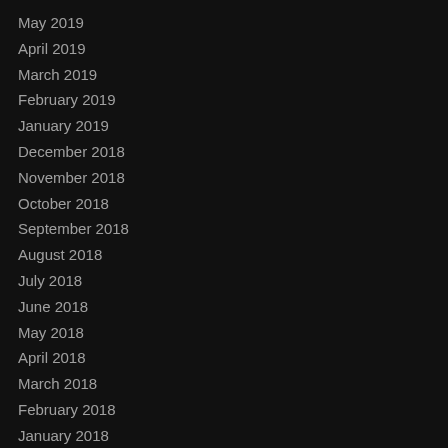May 2019
April 2019
March 2019
February 2019
January 2019
December 2018
November 2018
October 2018
September 2018
August 2018
July 2018
June 2018
May 2018
April 2018
March 2018
February 2018
January 2018
December 2017
November 2017